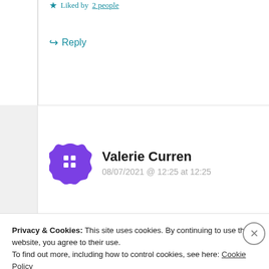★ Liked by 2 people
↪ Reply
Valerie Curren
08/07/2021 @ 12:25 at 12:25
Thanks for that very thoughtful share!!!
★ Liked by 1 person
Privacy & Cookies: This site uses cookies. By continuing to use this website, you agree to their use.
To find out more, including how to control cookies, see here: Cookie Policy
Close and accept